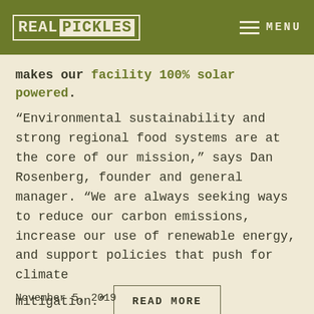REAL PICKLES | MENU
makes our facility 100% solar powered.
“Environmental sustainability and strong regional food systems are at the core of our mission,” says Dan Rosenberg, founder and general manager. “We are always seeking ways to reduce our carbon emissions, increase our use of renewable energy, and support policies that push for climate mitigation.”
READ MORE
November 5, 2019